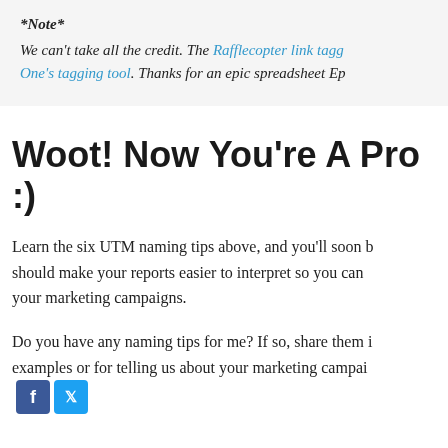*Note*
We can't take all the credit. The Rafflecopter link tagg... One's tagging tool. Thanks for an epic spreadsheet Ep...
Woot! Now You're A Pro :)
Learn the six UTM naming tips above, and you'll soon b... should make your reports easier to interpret so you can... your marketing campaigns.
Do you have any naming tips for me? If so, share them i... examples or for telling us about your marketing campai...